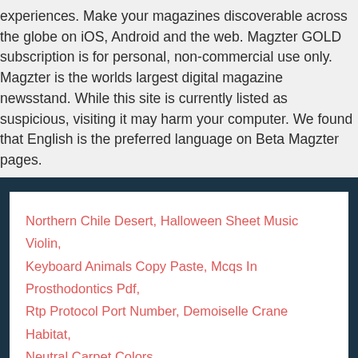experiences. Make your magazines discoverable across the globe on iOS, Android and the web. Magzter GOLD subscription is for personal, non-commercial use only. Magzter is the worlds largest digital magazine newsstand. While this site is currently listed as suspicious, visiting it may harm your computer. We found that English is the preferred language on Beta Magzter pages.
Northern Chile Desert, Halloween Sheet Music Violin, Keyboard Animals Copy Paste, Mcqs In Prosthodontics Pdf, Rtp Protocol Port Number, Demoiselle Crane Habitat, Neutral Carpet Colors,
2020 is magzter safe